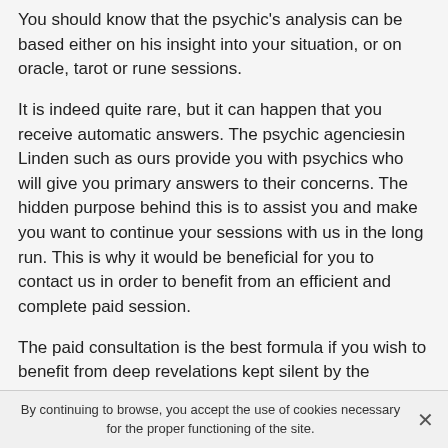You should know that the psychic's analysis can be based either on his insight into your situation, or on oracle, tarot or rune sessions.
It is indeed quite rare, but it can happen that you receive automatic answers. The psychic agenciesin Linden such as ours provide you with psychics who will give you primary answers to their concerns. The hidden purpose behind this is to assist you and make you want to continue your sessions with us in the long run. This is why it would be beneficial for you to contact us in order to benefit from an efficient and complete paid session.
The paid consultation is the best formula if you wish to benefit from deep revelations kept silent by the psychics during your sessions. Then, you will be given relevant answers that will surely serve you.
By continuing to browse, you accept the use of cookies necessary for the proper functioning of the site.